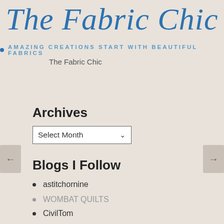The Fabric Chic
AMAZING CREATIONS START WITH BEAUTIFUL FABRICS
The Fabric Chic
Archives
Select Month
Blogs I Follow
astitchornine
WOMBAT QUILTS
CivilTom
CivilTom
QuiltingNeeds.com